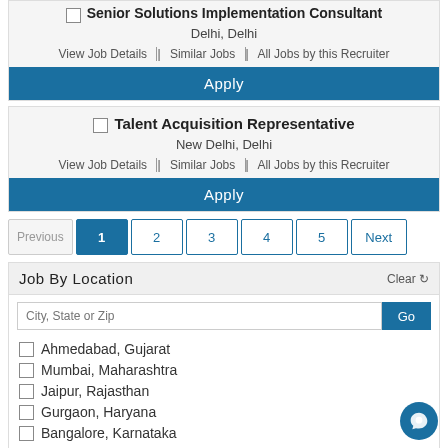Senior Solutions Implementation Consultant — Delhi, Delhi — View Job Details | Similar Jobs | All Jobs by this Recruiter — Apply
Talent Acquisition Representative — New Delhi, Delhi — View Job Details | Similar Jobs | All Jobs by this Recruiter — Apply
Previous 1 2 3 4 5 Next
Job By Location
Clear
City, State or Zip
Ahmedabad, Gujarat
Mumbai, Maharashtra
Jaipur, Rajasthan
Gurgaon, Haryana
Bangalore, Karnataka